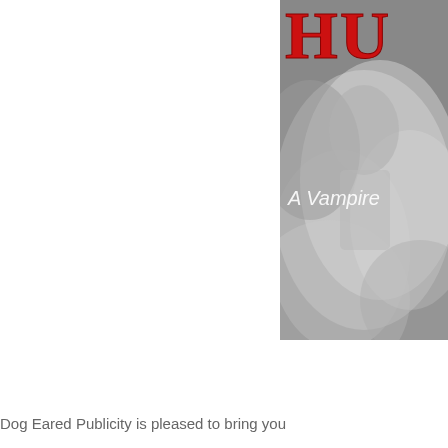[Figure (illustration): Partial book cover image in black and white with red text showing 'HU' (partial title) at the top and 'A Vampire' subtitle text visible, with a dramatic smoky/ethereal figure composition. The image is cropped on the left and bottom-right.]
Dog Eared Publicity is pleased to bring you